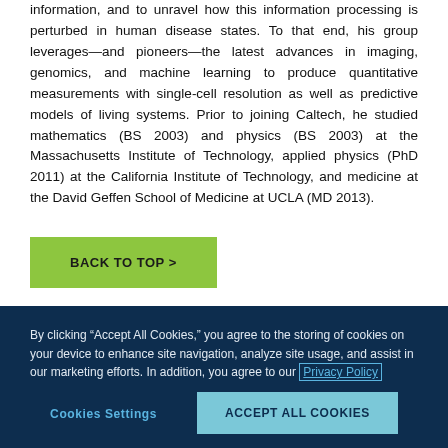information, and to unravel how this information processing is perturbed in human disease states. To that end, his group leverages—and pioneers—the latest advances in imaging, genomics, and machine learning to produce quantitative measurements with single-cell resolution as well as predictive models of living systems. Prior to joining Caltech, he studied mathematics (BS 2003) and physics (BS 2003) at the Massachusetts Institute of Technology, applied physics (PhD 2011) at the California Institute of Technology, and medicine at the David Geffen School of Medicine at UCLA (MD 2013).
BACK TO TOP >
By clicking “Accept All Cookies,” you agree to the storing of cookies on your device to enhance site navigation, analyze site usage, and assist in our marketing efforts. In addition, you agree to our Privacy Policy
Cookies Settings
ACCEPT ALL COOKIES